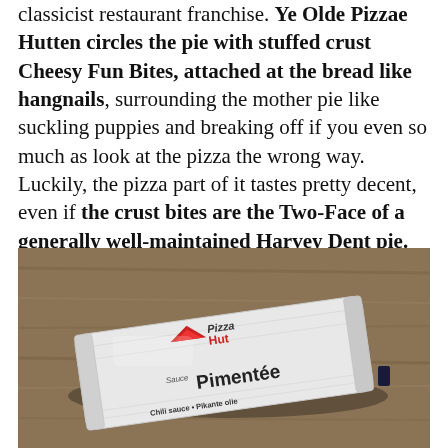classicist restaurant franchise. Ye Olde Pizzae Hutten circles the pie with stuffed crust Cheesy Fun Bites, attached at the bread like hangnails, surrounding the mother pie like suckling puppies and breaking off if you even so much as look at the pizza the wrong way. Luckily, the pizza part of it tastes pretty decent, even if the crust bites are the Two-Face of a generally well-maintained Harvey Dent pie.
[Figure (photo): A Pizza Hut sauce packet labeled 'Sauce Pimentée / Chili sauce • Pikante olie' lying on a wooden table surface.]